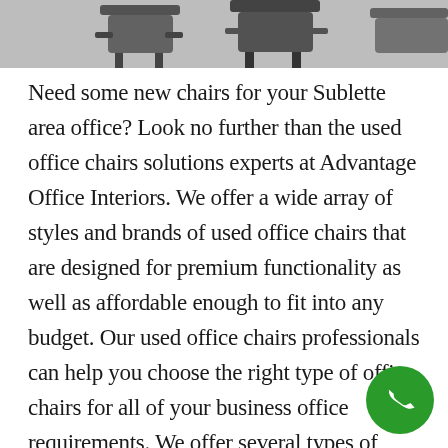[Figure (photo): Partial photo of office chairs, cropped at top, black and white/grayscale, showing chair backs and parts]
Need some new chairs for your Sublette area office? Look no further than the used office chairs solutions experts at Advantage Office Interiors. We offer a wide array of styles and brands of used office chairs that are designed for premium functionality as well as affordable enough to fit into any budget. Our used office chairs professionals can help you choose the right type of office chairs for all of your business office requirements. We offer several types of used office chairs for any office environment you may have. We realize that your employees and clients need to sit in the most